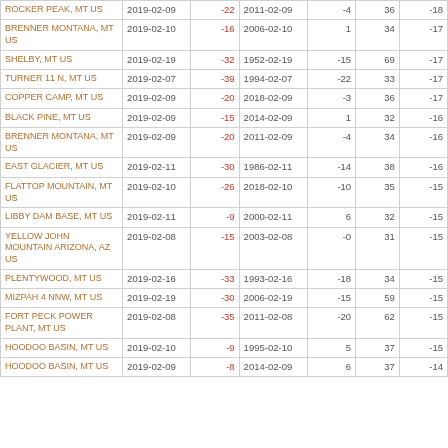| Station | Date | Value | Record Date | Record Value | Years | Diff |
| --- | --- | --- | --- | --- | --- | --- |
| ROCKER PEAK, MT US | 2019-02-09 | -22 | 2011-02-09 | -4 | 36 | -18 |
| BRENNER MONTANA, MT US | 2019-02-10 | -16 | 2006-02-10 | 1 | 34 | -17 |
| SHELBY, MT US | 2019-02-19 | -32 | 1952-02-19 | -15 | 69 | -17 |
| TURNER 11 N, MT US | 2019-02-07 | -39 | 1994-02-07 | -22 | 33 | -17 |
| COPPER CAMP, MT US | 2019-02-09 | -20 | 2018-02-09 | -3 | 36 | -17 |
| BLACK PINE, MT US | 2019-02-09 | -15 | 2014-02-09 | 1 | 32 | -16 |
| BRENNER MONTANA, MT US | 2019-02-09 | -20 | 2011-02-09 | -4 | 34 | -16 |
| EAST GLACIER, MT US | 2019-02-11 | -30 | 1986-02-11 | -14 | 38 | -16 |
| FLATTOP MOUNTAIN, MT US | 2019-02-10 | -26 | 2018-02-10 | -10 | 35 | -15 |
| LIBBY DAM BASE, MT US | 2019-02-11 | -9 | 2000-02-11 | 6 | 32 | -15 |
| YELLOW JOHN MOUNTAIN ARIZONA, AZ US | 2019-02-08 | -15 | 2003-02-08 | -0 | 31 | -15 |
| PLENTYWOOD, MT US | 2019-02-16 | -33 | 1993-02-16 | -18 | 34 | -15 |
| MIZPAH 4 NNW, MT US | 2019-02-19 | -30 | 2006-02-19 | -15 | 59 | -15 |
| FORT PECK POWER PLANT, MT US | 2019-02-08 | -35 | 2011-02-08 | -20 | 62 | -15 |
| HOODOO BASIN, MT US | 2019-02-10 | -9 | 1995-02-10 | 5 | 37 | -15 |
| HOODOO BASIN, MT US | 2019-02-09 | -8 | 2014-02-09 | 6 | 37 | -14 |